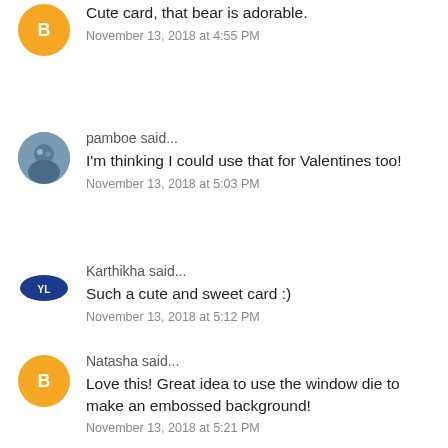[Figure (illustration): Orange blogger avatar icon (letter B in circle) top left]
Cute card, that bear is adorable.
November 13, 2018 at 4:55 PM
[Figure (photo): User profile photo of pamboe]
pamboe said...
I'm thinking I could use that for Valentines too!
November 13, 2018 at 5:03 PM
[Figure (logo): Karthikha user avatar with blue oval logo]
Karthikha said...
Such a cute and sweet card :)
November 13, 2018 at 5:12 PM
[Figure (illustration): Orange blogger avatar icon (letter B in circle)]
Natasha said...
Love this! Great idea to use the window die to make an embossed background!
November 13, 2018 at 5:21 PM